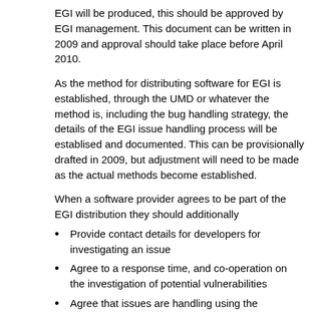EGI will be produced, this should be approved by EGI management. This document can be written in 2009 and approval should take place before April 2010.
As the method for distributing software for EGI is established, through the UMD or whatever the method is, including the bug handling strategy, the details of the EGI issue handling process will be establised and documented. This can be provisionally drafted in 2009, but adjustment will need to be made as the actual methods become established.
When a software provider agrees to be part of the EGI distribution they should additionally
Provide contact details for developers for investigating an issue
Agree to a response time, and co-operation on the investigation of potential vulnerabilities
Agree that issues are handling using the approved strategy including the responsible disclosure strategy
Agree to co-ordinate the distrubution of patches with EGI if they themselves find and patch a vulnerability
Decide whether they are able to provide manpower (e.g.